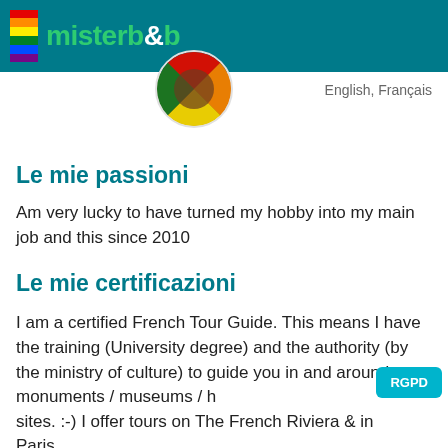misterb&b
English, Français
Le mie passioni
Am very lucky to have turned my hobby into my main job and this since 2010
Le mie certificazioni
I am a certified French Tour Guide. This means I have the training (University degree) and the authority (by the ministry of culture) to guide you in and around monuments / museums / historical sites. :-) I offer tours on The French Riviera & in Paris